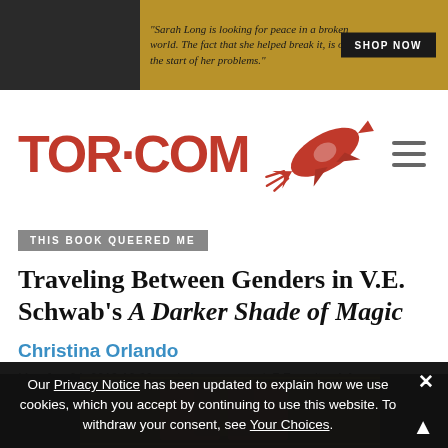[Figure (screenshot): Advertisement banner for a book. Text reads: "Sarah Long is looking for peace in a broken world. The fact that she helped break it, is only the start of her problems." with a SHOP NOW button.]
[Figure (logo): TOR.COM logo with red rocket graphic and hamburger menu icon]
THIS BOOK QUEERED ME
Traveling Between Genders in V.E. Schwab's A Darker Shade of Magic
Christina Orlando
Mon Jun 24, 2019 10:30am  |  4 comments  |  7 Favorites [+]
[Figure (photo): Partial view of book cover art for A Darker Shade of Magic — dark background with red and golden decorative design]
Our Privacy Notice has been updated to explain how we use cookies, which you accept by continuing to use this website. To withdraw your consent, see Your Choices.